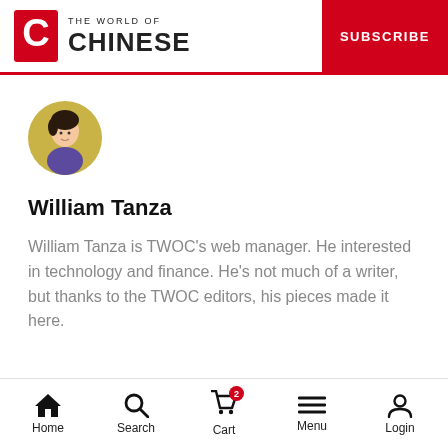THE WORLD OF CHINESE | SUBSCRIBE
[Figure (illustration): Circular avatar illustration of a person with short dark hair wearing a purple top, on a golden/yellow background]
William Tanza
William Tanza is TWOC's web manager. He interested in technology and finance. He's not much of a writer, but thanks to the TWOC editors, his pieces made it here.
Home | Search | Cart | Menu | Login